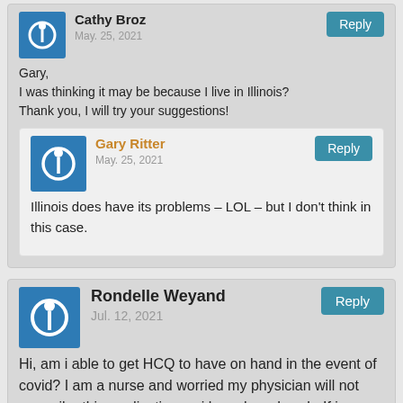Cathy Broz
May. 25, 2021
Gary,
I was thinking it may be because I live in Illinois?
Thank you, I will try your suggestions!
Gary Ritter
May. 25, 2021
Illinois does have its problems – LOL – but I don't think in this case.
Rondelle Weyand
Jul. 12, 2021
Hi, am i able to get HCQ to have on hand in the event of covid? I am a nurse and worried my physician will not prescribe this medication as i have heard such. If i can order, where can i do this?